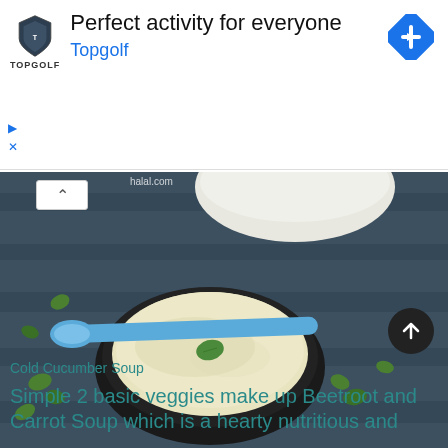[Figure (screenshot): Topgolf advertisement banner with logo shield, headline 'Perfect activity for everyone', brand name 'Topgolf' in blue, and a blue diamond navigation icon on the right. Ad controls (play and close buttons) on the left.]
[Figure (photo): Photo of a cold cucumber soup in a dark bowl with a blue spoon resting across it, garnished with a mint leaf, placed on a dark blue wooden surface with mint leaves scattered around. A white bowl is visible in the upper background. Watermark 'halal.com' in upper left. Website watermark text.]
Cold Cucumber Soup
Simple 2 basic veggies make up Beetroot and Carrot Soup which is a hearty nutritious and